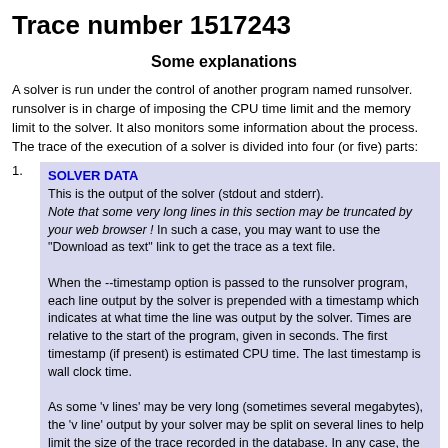Trace number 1517243
Some explanations
A solver is run under the control of another program named runsolver. runsolver is in charge of imposing the CPU time limit and the memory limit to the solver. It also monitors some information about the process. The trace of the execution of a solver is divided into four (or five) parts:
SOLVER DATA
This is the output of the solver (stdout and stderr).
Note that some very long lines in this section may be truncated by your web browser ! In such a case, you may want to use the "Download as text" link to get the trace as a text file.

When the --timestamp option is passed to the runsolver program, each line output by the solver is prepended with a timestamp which indicates at what time the line was output by the solver. Times are relative to the start of the program, given in seconds. The first timestamp (if present) is estimated CPU time. The last timestamp is wall clock time.

As some 'v lines' may be very long (sometimes several megabytes), the 'v line' output by your solver may be split on several lines to help limit the size of the trace recorded in the database. In any case, the exact output of your solver is preserved in a trace file.
VERIFIER DATA
The output of the solver is piped to a verifier program which will